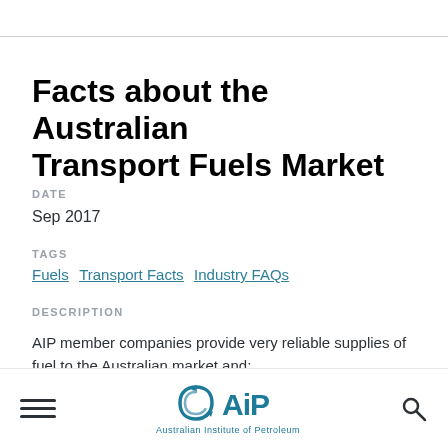Facts about the Australian Transport Fuels Market
DATE
Sep 2017
TAGS
Fuels  Transport Facts  Industry FAQs
DESCRIPTION
AIP member companies provide very reliable supplies of fuel to the Australian market and: represent around 90% of primary fuel supply to the
[Figure (logo): Australian Institute of Petroleum (AIP) logo with circular arrow icon and AIP text]